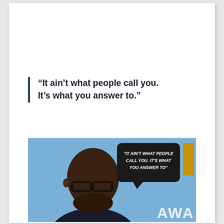“It ain’t what people call you. It’s what you answer to.”
[Figure (photo): A man wearing glasses against a blue background, with a black speech bubble overlay reading 'IT AIN'T WHAT PEOPLE CALL YOU. IT'S WHAT YOU ANSWER TO' and partial text 'AWA' in bottom right corner]
Wellness Products That Work As Hard As You